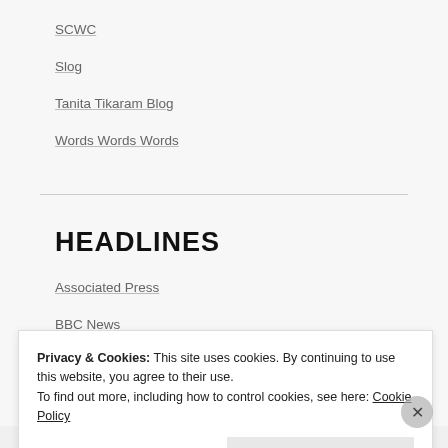SCWC
Slog
Tanita Tikaram Blog
Words Words Words
HEADLINES
Associated Press
BBC News
McClatchy DC
Privacy & Cookies: This site uses cookies. By continuing to use this website, you agree to their use.
To find out more, including how to control cookies, see here: Cookie Policy
Close and accept